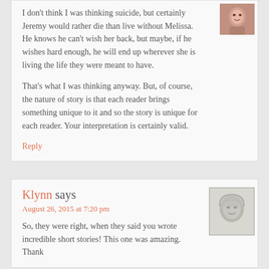I don't think I was thinking suicide, but certainly Jeremy would rather die than live without Melissa. He knows he can't wish her back, but maybe, if he wishes hard enough, he will end up wherever she is living the life they were meant to have.
That's what I was thinking anyway. But, of course, the nature of story is that each reader brings something unique to it and so the story is unique for each reader. Your interpretation is certainly valid.
Reply
Klynn says
August 26, 2015 at 7:20 pm
So, they were right, when they said you wrote incredible short stories! This one was amazing. Thank